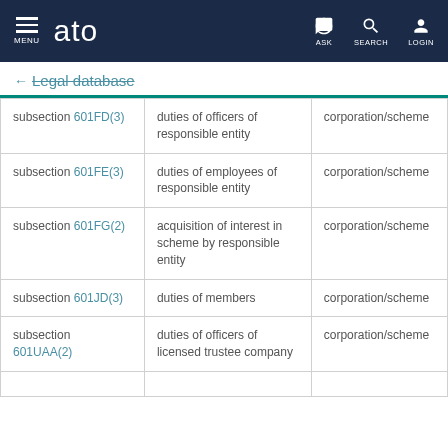MENU ato ASK SEARCH LOGIN
← Legal database
|  |  |  |
| --- | --- | --- |
| subsection 601FD(3) | duties of officers of responsible entity | corporation/scheme |
| subsection 601FE(3) | duties of employees of responsible entity | corporation/scheme |
| subsection 601FG(2) | acquisition of interest in scheme by responsible entity | corporation/scheme |
| subsection 601JD(3) | duties of members | corporation/scheme |
| subsection 601UAA(2) | duties of officers of licensed trustee company | corporation/scheme |